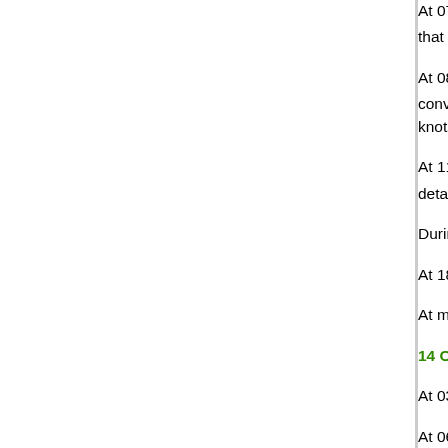At 0700 hours, HMS Ajax, HMS Jervis and HMS [continues]... that time. From convoy MF 4 HMS Coventry wa[s]...
At 0800 hours, when in position 36°00'N, 21°04[...] convoy in position 35°46'N, 20°32'E. The convo[y...] knots she was ordered to proceed ahead escor[t...]
At 1120 hours, HMS Illustrious, HMS Glouceste[r...] detached to carry out a night attack on Leros.
During the rest of the day the course of the flee[t...]
At 1800 hours, the fleet was in position 35°42'N[...]
At midnight the fleet was in position 34°35'N, 23[...]
14 October 1940.
At 0300 hours, the fleet altered course to 090°.
At 0600 hours, HMS Eagle launched aircraft to s[...]
At 0800 hours, the fleet was in position 34°24'N[...]
At 0840 hours, the Illustrious-force rejoined. The[...] Fiveteen aircraft took part in the attack. They dr[...]